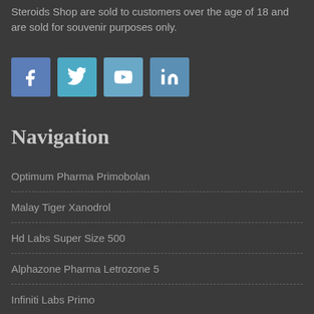Steroids Shop are sold to customers over the age of 18 and are sold for souvenir purposes only.
[Figure (other): Four social media icon buttons: Facebook (blue), Twitter (light blue), YouTube (blue-gray), LinkedIn (dark blue)]
Navigation
Optimum Pharma Primobolan
Malay Tiger Xanodrol
Hd Labs Super Size 500
Alphazone Pharma Letrozone 5
Infiniti Labs Primo